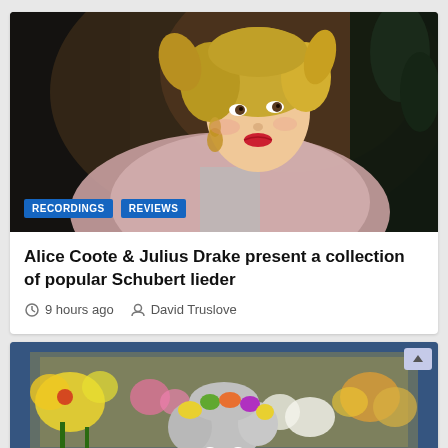[Figure (photo): Portrait of a woman with blonde hair, wearing a pink/rose jacket over a sparkly dress, looking upward and to the side. Dark moody background.]
RECORDINGS
REVIEWS
Alice Coote & Julius Drake present a collection of popular Schubert lieder
9 hours ago   David Truslove
[Figure (photo): A performer with wild grey hair and a floral crown, raising both index fingers, surrounded by colorful flowers on stage.]